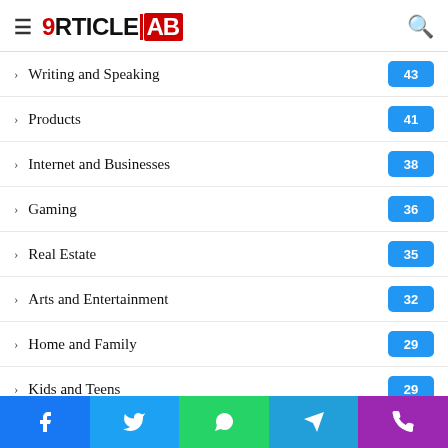ArticleTab - Navigation menu header with hamburger, logo, and search icon
Writing and Speaking 43
Products 41
Internet and Businesses 38
Gaming 36
Real Estate 35
Arts and Entertainment 32
Home and Family 29
Kids and Teens 29
Home Based Business 28
Buy and Sell 27
Movies
Social share buttons: Facebook, Twitter, WhatsApp, Telegram, Phone